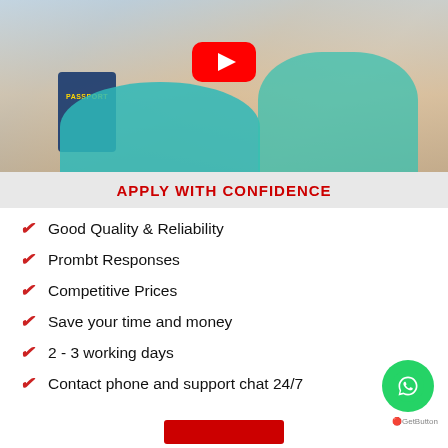[Figure (photo): Two people (couple) smiling and holding a US passport and travel documents. A YouTube play button overlay is shown in the center of the image.]
APPLY WITH CONFIDENCE
Good Quality & Reliability
Prombt Responses
Competitive Prices
Save your time and money
2 - 3 working days
Contact phone and support chat 24/7